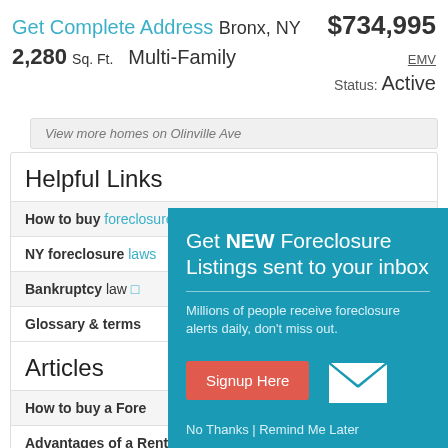Get Complete Address Bronx, NY 10467 $734,995
2,280 Sq. Ft. Multi-Family EMV Status: Active
View more homes on Olinville Ave
Helpful Links
How to buy foreclosures
NY foreclosure laws
Bankruptcy law
Glossary & terms
Articles
How to buy a Foreclosure
Advantages of a Rent to Own Home
What is a HUD home?
[Figure (infographic): Modal popup: Get NEW Foreclosure Listings sent to your inbox. Signup Here button, envelope icon, No Thanks | Remind Me Later links.]